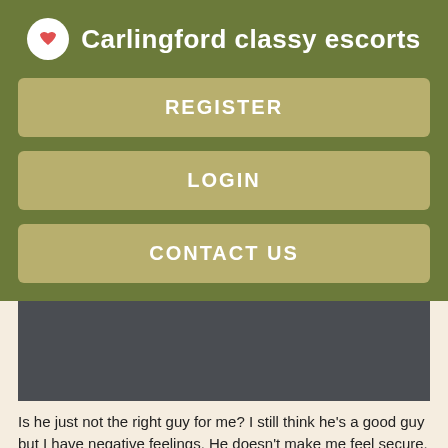Carlingford classy escorts
REGISTER
LOGIN
CONTACT US
[Figure (photo): Dark gray rectangular image block]
Is he just not the right guy for me? I still think he's a good guy but I have negative feelings. He doesn't make me feel secure. when I had to go out of town for five days because my fiancé's parent had died. Graham Wnen best bets. Out of all the vital elements of love, trust is the most important in a relationship.